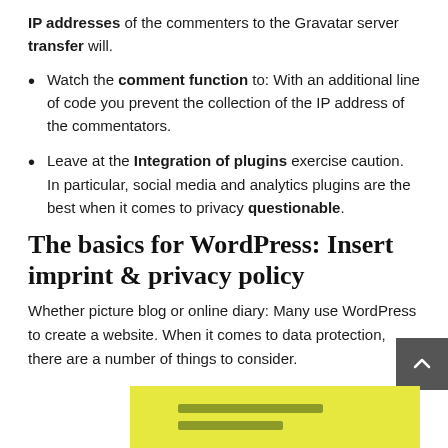IP addresses of the commenters to the Gravatar server transfer will.
Watch the comment function to: With an additional line of code you prevent the collection of the IP address of the commentators.
Leave at the Integration of plugins exercise caution. In particular, social media and analytics plugins are the best when it comes to privacy questionable.
The basics for WordPress: Insert imprint & privacy policy
Whether picture blog or online diary: Many use WordPress to create a website. When it comes to data protection, there are a number of things to consider.
[Figure (illustration): Partial view of a yellow highlighted card or document with dark olive/green horizontal lines on it, partially visible at the bottom of the page.]